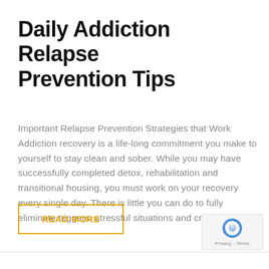Daily Addiction Relapse Prevention Tips
Important Relapse Prevention Strategies that Work Addiction recovery is a life-long commitment you make to yourself to stay clean and sober. While you may have successfully completed detox, rehabilitation and transitional housing, you must work on your recovery every single day. There is little you can do to fully eliminate triggers, stressful situations and cravings [...]
READ MORE